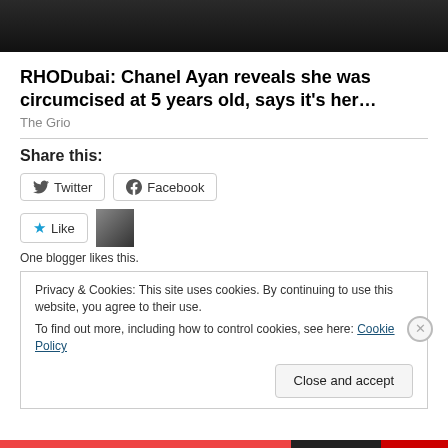[Figure (photo): Dark photo strip at top of page showing partial figure in gold/sequined outfit against dark background]
RHODubai: Chanel Ayan reveals she was circumcised at 5 years old, says it's her…
The Grio
Share this:
One blogger likes this.
Privacy & Cookies: This site uses cookies. By continuing to use this website, you agree to their use.
To find out more, including how to control cookies, see here: Cookie Policy